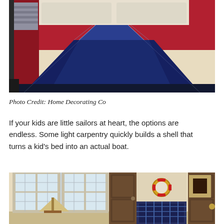[Figure (photo): Close-up photo of a nautical-themed bed with navy blue and red comforter/duvet featuring stitched geometric sail-like pattern, with white bedding visible at top.]
Photo Credit: Home Decorating Co
If your kids are little sailors at heart, the options are endless. Some light carpentry quickly builds a shell that turns a kid's bed into an actual boat.
[Figure (photo): Interior photo of a nautical-themed kids bedroom with large windows, wooden doors, a life preserver ring on the wall, and a bed with navy blue plaid bedding.]